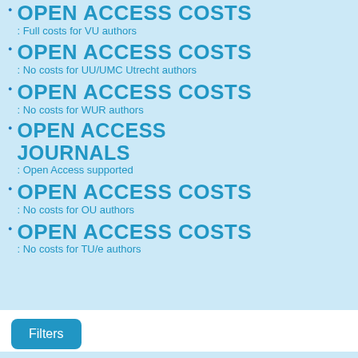OPEN ACCESS COSTS: Full costs for VU authors
OPEN ACCESS COSTS: No costs for UU/UMC Utrecht authors
OPEN ACCESS COSTS: No costs for WUR authors
OPEN ACCESS JOURNALS: Open Access supported
OPEN ACCESS COSTS: No costs for OU authors
OPEN ACCESS COSTS: No costs for TU/e authors
Filters